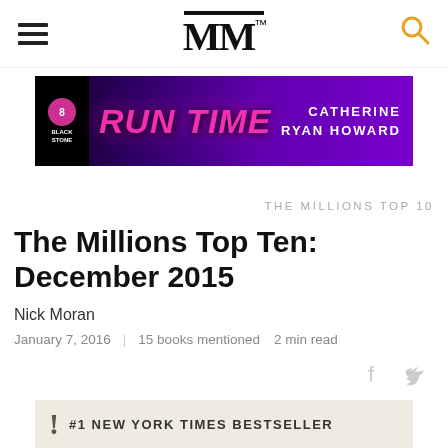MM
[Figure (illustration): Advertisement banner for 'Run Time' by Catherine Ryan Howard, published by Blackstone. Dark purple/magenta gradient background with bold pink italic title text and white serif author name.]
THE MILLIONS TOP 10
The Millions Top Ten: December 2015
Nick Moran
January 7, 2016  |  15 books mentioned  2 min read
[Figure (photo): Bottom portion of a book cover showing '#1 NEW YORK TIMES BESTSELLER' text on a beige/cream textured background with an exclamation mark icon.]